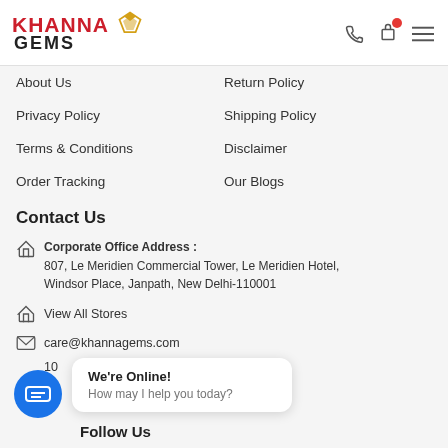Khanna Gems
About Us
Return Policy
Privacy Policy
Shipping Policy
Terms & Conditions
Disclaimer
Order Tracking
Our Blogs
Contact Us
Corporate Office Address : 807, Le Meridien Commercial Tower, Le Meridien Hotel, Windsor Place, Janpath, New Delhi-110001
View All Stores
care@khannagems.com
We're Online! How may I help you today?
Follow Us